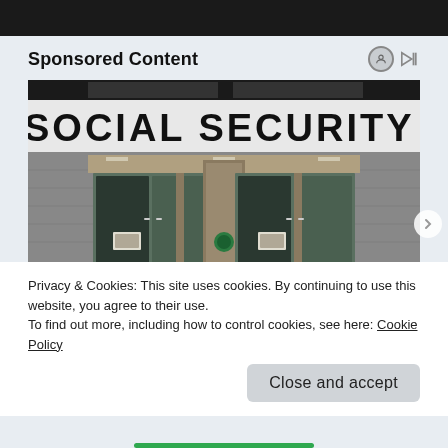[Figure (screenshot): Dark top navigation bar of a website]
Sponsored Content
[Figure (photo): Photograph of Social Security Administration building exterior showing the sign reading 'SOCIAL SECURITY ADMINISTRATION' and glass entrance doors]
Privacy & Cookies: This site uses cookies. By continuing to use this website, you agree to their use.
To find out more, including how to control cookies, see here: Cookie Policy
Close and accept